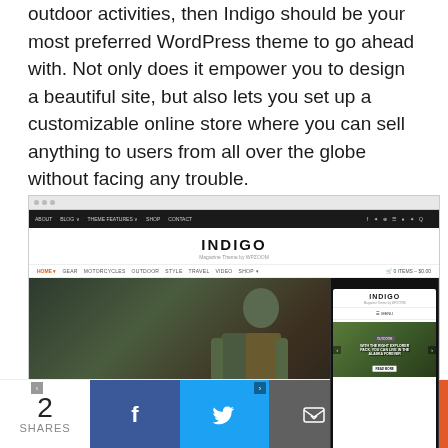outdoor activities, then Indigo should be your most preferred WordPress theme to go ahead with. Not only does it empower you to design a beautiful site, but also lets you set up a customizable online store where you can sell anything to users from all over the globe without facing any trouble.
[Figure (screenshot): Screenshot of the Indigo WordPress theme showing desktop and mobile views. The desktop view shows the Indigo theme header with navigation, a hero image of a person with a backpack, and headline 'THE FINNISH OUTDOOR BRAND WE WISH WOULD COME STATESIDE'. A phone mockup on the right shows the mobile version with the same Indigo branding and a hero image with text.]
2 SHARES [Facebook] [Twitter] [Email] [+]